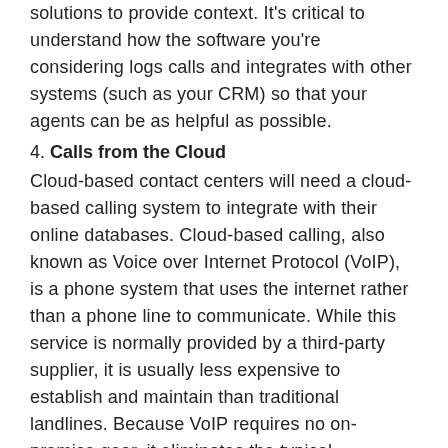solutions to provide context. It's critical to understand how the software you're considering logs calls and integrates with other systems (such as your CRM) so that your agents can be as helpful as possible.
4. Calls from the Cloud
Cloud-based contact centers will need a cloud-based calling system to integrate with their online databases. Cloud-based calling, also known as Voice over Internet Protocol (VoIP), is a phone system that uses the internet rather than a phone line to communicate. While this service is normally provided by a third-party supplier, it is usually less expensive to establish and maintain than traditional landlines. Because VoIP requires no on-premise gear, it eliminates the typical maintenance and infrastructure costs associated with traditional phone lines.
Tags : Voice Blaster | IVR solutions in Delhi | voice logger | GSM PRI Gateway | Gsm